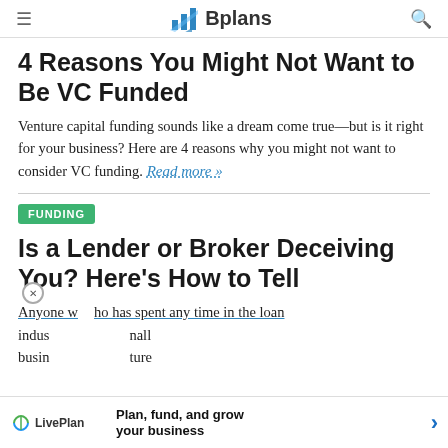Bplans
4 Reasons You Might Not Want to Be VC Funded
Venture capital funding sounds like a dream come true—but is it right for your business? Here are 4 reasons why you might not want to consider VC funding. Read more »
FUNDING
Is a Lender or Broker Deceiving You? Here's How to Tell
Anyone who has spent any time in the loan indus[try knows that not all] small busin[esses are ready for ven]ture